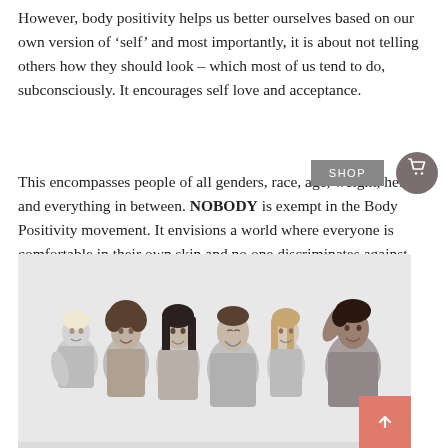However, body positivity helps us better ourselves based on our own version of 'self' and most importantly, it is about not telling others how they should look – which most of us tend to do, subconsciously. It encourages self love and acceptance.
This encompasses people of all genders, race, age, weight, height and everything in between. NOBODY is exempt in the Body Positivity movement. It envisions a world where everyone is comfortable in their own skin and no one discriminates against each other.
[Figure (photo): Black and white photo of six women of diverse body types posing together, smiling and laughing, wearing lingerie/swimwear.]